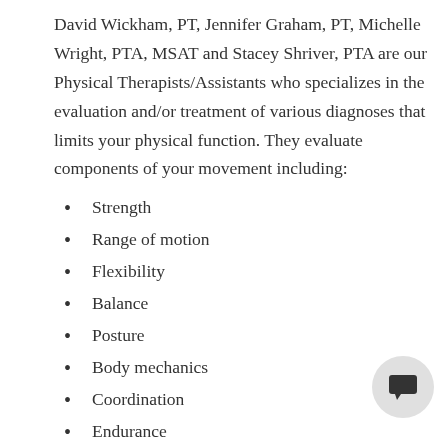David Wickham, PT, Jennifer Graham, PT, Michelle Wright, PTA, MSAT and Stacey Shriver, PTA are our Physical Therapists/Assistants who specializes in the evaluation and/or treatment of various diagnoses that limits your physical function. They evaluate components of your movement including:
Strength
Range of motion
Flexibility
Balance
Posture
Body mechanics
Coordination
Endurance
General mobility (walking, stair climbing, getting in and out of bed or chairs)